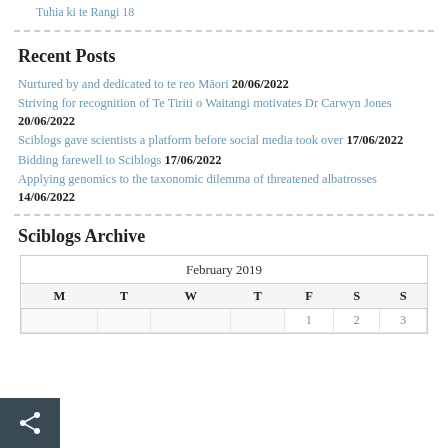Tuhia ki te Rangi 18
Recent Posts
Nurtured by and dedicated to te reo Māori 20/06/2022
Striving for recognition of Te Tiriti o Waitangi motivates Dr Carwyn Jones 20/06/2022
Sciblogs gave scientists a platform before social media took over 17/06/2022
Bidding farewell to Sciblogs 17/06/2022
Applying genomics to the taxonomic dilemma of threatened albatrosses 14/06/2022
Sciblogs Archive
| M | T | W | T | F | S | S |
| --- | --- | --- | --- | --- | --- | --- |
|  |  |  |  | 1 | 2 | 3 |